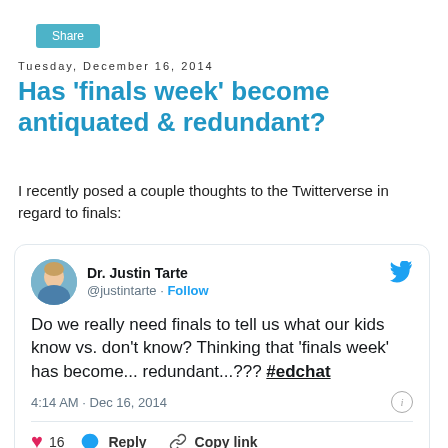[Figure (screenshot): Share button (teal/blue rounded rectangle)]
Tuesday, December 16, 2014
Has 'finals week' become antiquated & redundant?
I recently posed a couple thoughts to the Twitterverse in regard to finals:
[Figure (screenshot): Embedded tweet by Dr. Justin Tarte (@justintarte): 'Do we really need finals to tell us what our kids know vs. don't know? Thinking that 'finals week' has become... redundant...??? #edchat' posted at 4:14 AM · Dec 16, 2014, with 16 likes, Reply, and Copy link actions.]